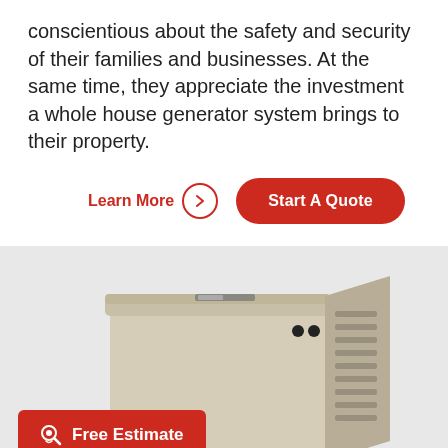conscientious about the safety and security of their families and businesses. At the same time, they appreciate the investment a whole house generator system brings to their property.
Learn More  |  Start A Quote
[Figure (photo): A Generac whole house standby generator unit shown in a light beige/cream enclosure with ventilation slats on the side, photographed against a light gray background. A 'Free Estimate' button appears in the lower left overlay and the Generac logo appears at the bottom.]